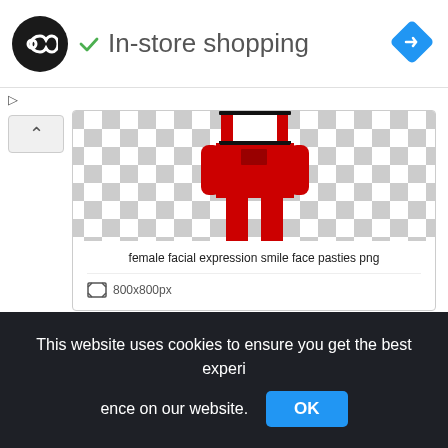[Figure (screenshot): Website header with logo circle containing infinity symbol, checkmark and 'In-store shopping' text, blue navigation diamond icon]
▷
✕
[Figure (screenshot): Expand/collapse accordion button with upward chevron (^)]
[Figure (screenshot): Image card showing checkerboard transparent background with a red cartoon character body (torso/apron in red), title 'female facial expression smile face pasties png', dimensions 800x800px]
female facial expression smile face pasties png
800x800px
[Figure (screenshot): Second checkerboard transparent background image card (content partially visible)]
This website uses cookies to ensure you get the best experi ence on our website.